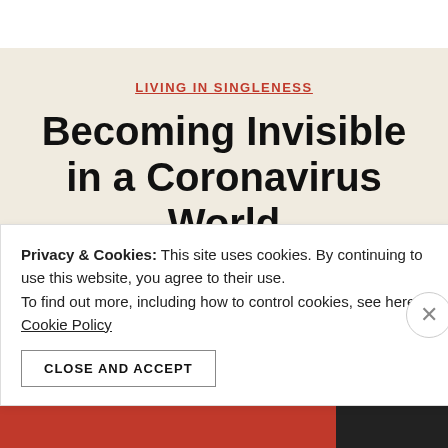LIVING IN SINGLENESS
Becoming Invisible in a Coronavirus World
By Maggie Marcum   March 29, 2020
No Comments
Privacy & Cookies: This site uses cookies. By continuing to use this website, you agree to their use. To find out more, including how to control cookies, see here: Cookie Policy
CLOSE AND ACCEPT